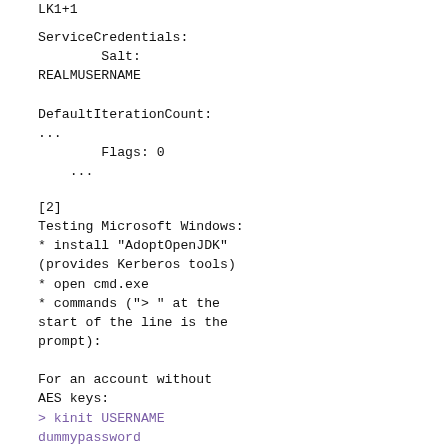ServiceCredentials:
        Salt:
REALMUSERNAME

DefaultIterationCount:
...
        Flags: 0
    ...
[2]
Testing Microsoft Windows:
* install "AdoptOpenJDK" (provides Kerberos tools)
* open cmd.exe
* commands ("> " at the start of the line is the prompt):

For an account without AES keys:
> kinit USERNAME dummypassword
Exception: krb_error 14
KDC has no support for
encryption type